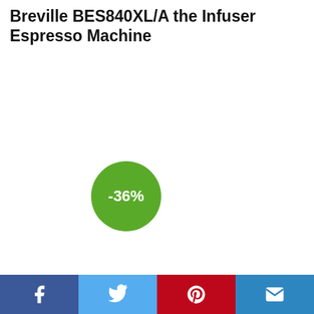Breville BES840XL/A the Infuser Espresso Machine
[Figure (infographic): Green circular badge showing -36% discount]
[Figure (other): Grey scroll-to-top button with upward chevron arrow]
[Figure (other): Social sharing bar with Facebook, Twitter, Pinterest, and email buttons]